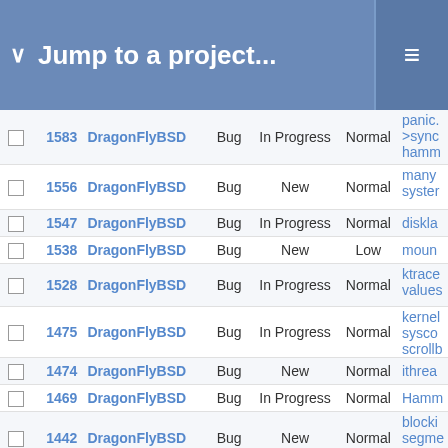Jump to a project...
|  | # | Project | Tracker | Status | Priority | Subject |
| --- | --- | --- | --- | --- | --- | --- |
|  | 1583 | DragonFlyBSD | Bug | In Progress | Normal | panic. >sync hamm |
|  | 1556 | DragonFlyBSD | Bug | New | Normal | many syster |
|  | 1547 | DragonFlyBSD | Bug | In Progress | Normal | diskla |
|  | 1538 | DragonFlyBSD | Bug | New | Low | moun |
|  | 1528 | DragonFlyBSD | Bug | In Progress | Normal | ktrace values |
|  | 1475 | DragonFlyBSD | Bug | In Progress | Normal | kernel sysco scrollb |
|  | 1474 | DragonFlyBSD | Bug | New | Normal | ithrea |
|  | 1469 | DragonFlyBSD | Bug | In Progress | Normal | Hamm |
|  | 1442 | DragonFlyBSD | Bug | New | Normal | blocki segme consu |
|  | 1440 | DragonFlyBSD | Bug | New | Normal | ptrace blocks |
|  | 1307 | DragonFlyBSD | Bug | In Progress | Normal | hamm |
|  | 1287 | DragonFlyBSD | Bug | Feedback | Normal | altq cc |
|  | 1198 | DragonFlyBSD | Bug | New | High | DDB |